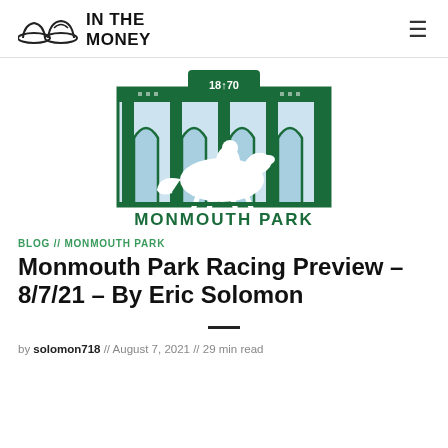IN THE MONEY
[Figure (logo): Monmouth Park logo — green art deco building facade with arched windows, horse and jockey silhouette in white, text 'MONMOUTH PARK' in green, '1870' in arch at top]
BLOG // MONMOUTH PARK
Monmouth Park Racing Preview – 8/7/21 – By Eric Solomon
by solomon718 // August 7, 2021 // 29 min read